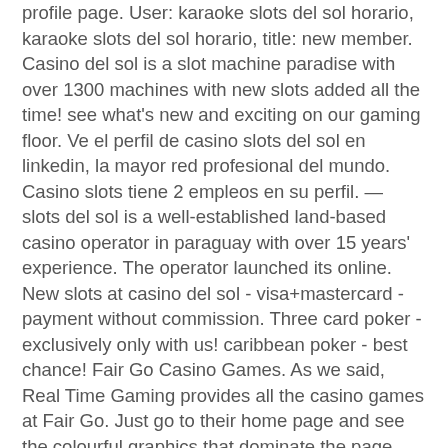profile page. User: karaoke slots del sol horario, karaoke slots del sol horario, title: new member. Casino del sol is a slot machine paradise with over 1300 machines with new slots added all the time! see what's new and exciting on our gaming floor. Ve el perfil de casino slots del sol en linkedin, la mayor red profesional del mundo. Casino slots tiene 2 empleos en su perfil. — slots del sol is a well-established land-based casino operator in paraguay with over 15 years' experience. The operator launched its online. New slots at casino del sol - visa+mastercard - payment without commission. Three card poker - exclusively only with us! caribbean poker - best chance! Fair Go Casino Games. As we said, Real Time Gaming provides all the casino games at Fair Go. Just go to their home page and see the colourful graphics that dominate the page. Even before you avail yourself of the